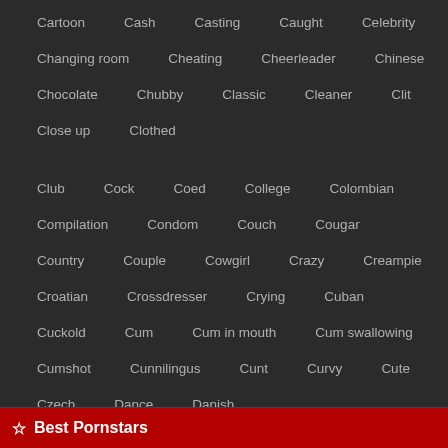Cartoon, Cash, Casting, Caught, Celebrity
Changing room, Cheating, Cheerleader, Chinese
Chocolate, Chubby, Classic, Cleaner, Clit
Close up, Clothed
Club, Cock, Coed, College, Colombian
Compilation, Condom, Couch, Cougar
Country, Couple, Cowgirl, Crazy, Creampie
Croatian, Crossdresser, Crying, Cuban
Cuckold, Cum, Cum in mouth, Cum swallowing
Cumshot, Cunnilingus, Cunt, Curvy, Cute
Czech, Dance, Danish
Best Pornstars